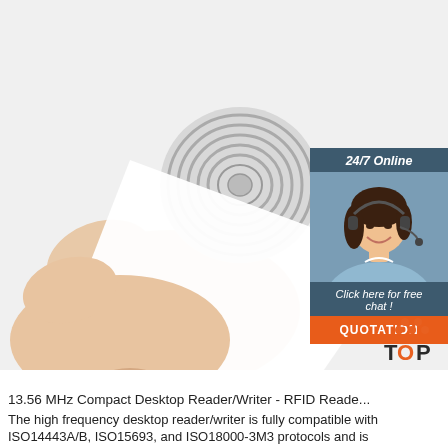[Figure (photo): A hand holding a circular RFID NFC tag/sticker, peeling back the white adhesive backing to reveal the spiral antenna coil inside. The background is white.]
[Figure (infographic): Customer support chat widget: dark teal background with '24/7 Online' text in italic white, photo of a smiling woman with headset, 'Click here for free chat!' text in italic white, and an orange 'QUOTATION' button.]
[Figure (logo): TOP logo with orange triangular dots above the text 'TOP' in dark and orange letters.]
13.56 MHz Compact Desktop Reader/Writer - RFID Reade...
The high frequency desktop reader/writer is fully compatible with ISO14443A/B, ISO15693, and ISO18000-3M3 protocols and is